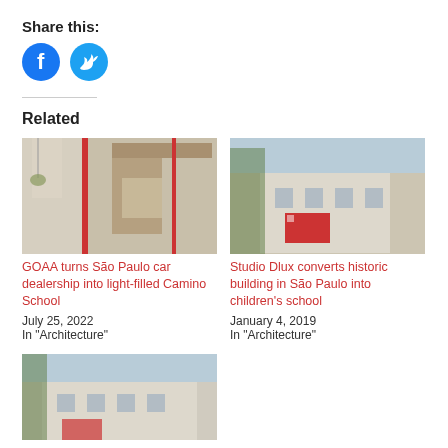Share this:
[Figure (other): Facebook and Twitter social share icon buttons (blue circles with white icons)]
Related
[Figure (photo): Interior photo of GOAA Camino School - light-filled space with hanging plants and red structural elements]
GOAA turns São Paulo car dealership into light-filled Camino School
July 25, 2022
In "Architecture"
[Figure (photo): Exterior photo of Studio Dlux historic building conversion in São Paulo - white colonial building with red signage]
Studio Dlux converts historic building in São Paulo into children's school
January 4, 2019
In "Architecture"
[Figure (photo): Exterior photo of a white colonial-style building with trees, partially cropped at bottom of page]